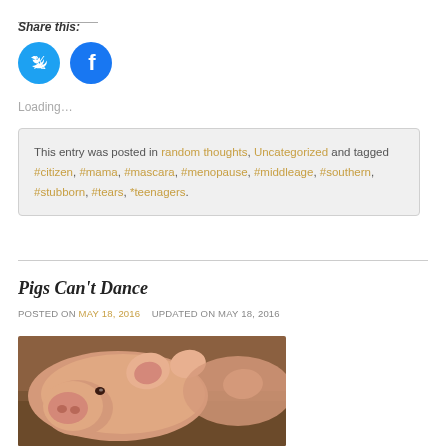Share this:
[Figure (illustration): Twitter and Facebook circular social sharing buttons (blue circles with white icons)]
Loading...
This entry was posted in random thoughts, Uncategorized and tagged #citizen, #mama, #mascara, #menopause, #middleage, #southern, #stubborn, #tears, *teenagers.
Pigs Can't Dance
POSTED ON MAY 18, 2016   UPDATED ON MAY 18, 2016
[Figure (photo): Photo of a pig lying in dirt/mud, close-up showing the pig's face and snout]